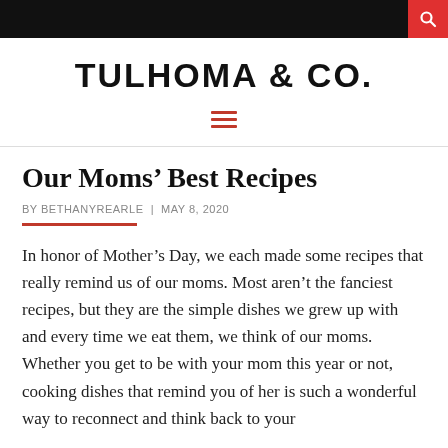TULHOMA & CO.
Our Moms’ Best Recipes
BY BETHANYREARLE | MAY 8, 2020
In honor of Mother’s Day, we each made some recipes that really remind us of our moms. Most aren’t the fanciest recipes, but they are the simple dishes we grew up with and every time we eat them, we think of our moms. Whether you get to be with your mom this year or not, cooking dishes that remind you of her is such a wonderful way to reconnect and think back to your